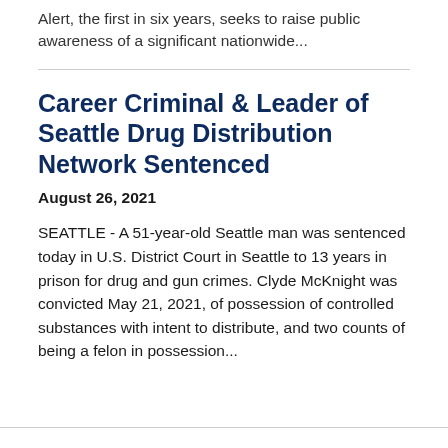Alert, the first in six years, seeks to raise public awareness of a significant nationwide...
Career Criminal & Leader of Seattle Drug Distribution Network Sentenced
August 26, 2021
SEATTLE - A 51-year-old Seattle man was sentenced today in U.S. District Court in Seattle to 13 years in prison for drug and gun crimes. Clyde McKnight was convicted May 21, 2021, of possession of controlled substances with intent to distribute, and two counts of being a felon in possession...